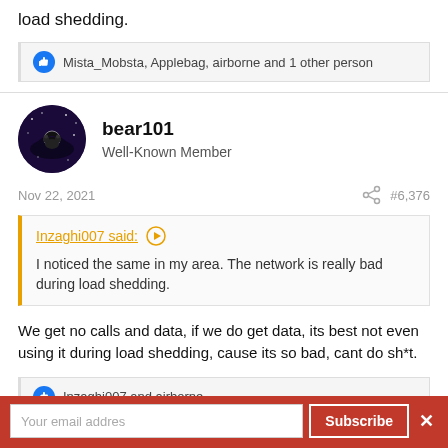load shedding.
Mista_Mobsta, Applebag, airborne and 1 other person
bear101
Well-Known Member
Nov 22, 2021
#6,376
Inzaghi007 said:
I noticed the same in my area. The network is really bad during load shedding.
We get no calls and data, if we do get data, its best not even using it during load shedding, cause its so bad, cant do sh*t.
Inzaghi007 and airborne
Your email addres
Subscribe